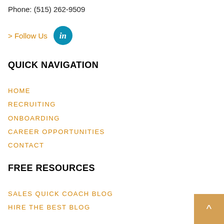Phone: (515) 262-9509
> Follow Us
[Figure (logo): LinkedIn circular logo icon in teal/blue circle with white 'in' text]
QUICK NAVIGATION
HOME
RECRUITING
ONBOARDING
CAREER OPPORTUNITIES
CONTACT
FREE RESOURCES
SALES QUICK COACH BLOG
HIRE THE BEST BLOG